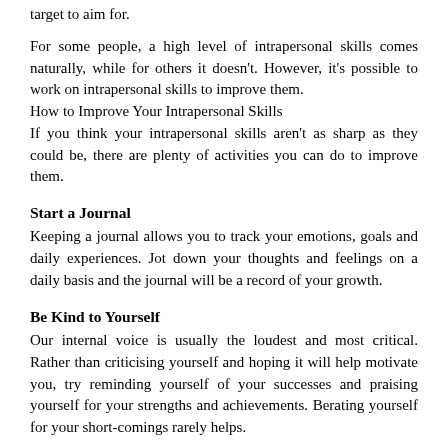target to aim for.
For some people, a high level of intrapersonal skills comes naturally, while for others it doesn't. However, it's possible to work on intrapersonal skills to improve them.
How to Improve Your Intrapersonal Skills
If you think your intrapersonal skills aren't as sharp as they could be, there are plenty of activities you can do to improve them.
Start a Journal
Keeping a journal allows you to track your emotions, goals and daily experiences. Jot down your thoughts and feelings on a daily basis and the journal will be a record of your growth.
Be Kind to Yourself
Our internal voice is usually the loudest and most critical. Rather than criticising yourself and hoping it will help motivate you, try reminding yourself of your successes and praising yourself for your strengths and achievements. Berating yourself for your short-comings rarely helps.
Set Yourself Goals